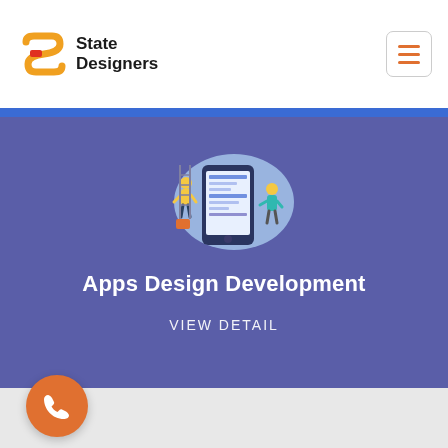[Figure (logo): State Designers logo with orange S-shaped icon and bold text 'State Designers']
[Figure (illustration): Hamburger menu icon (three orange horizontal lines) in a rounded rectangle button]
[Figure (illustration): App design development illustration showing people around a large smartphone with UI elements, on a blue-purple hero background]
Apps Design Development
VIEW DETAIL
[Figure (illustration): Orange circular phone/call button at bottom left]